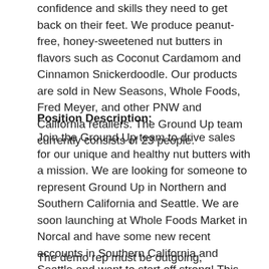confidence and skills they need to get back on their feet. We produce peanut-free, honey-sweetened nut butters in flavors such as Coconut Cardamom and Cinnamon Snickerdoodle. Our products are sold in New Seasons, Whole Foods, Fred Meyer, and other PNW and California retailers. The Ground Up team currently consists of 23 people.
Position Description:
Join the Ground Up team to drive sales for our unique and healthy nut butters with a mission. We are looking for someone to represent Ground Up in Northern and Southern California and Seattle. We are soon launching at Whole Foods Market in Norcal and have some new recent accounts in Southern California and Seattle and want to start off strong! This individual will work independently sampling products and sharing our mission with new customers.
The demo rep must be outgoing, organized, results-oriented, self-motivated and passionate